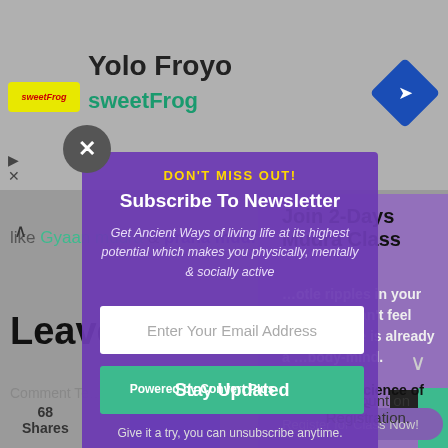Yolo Froyo
sweetFrog
[Figure (screenshot): A screenshot of a webpage with a newsletter subscription modal overlay. The background shows a Yolo Froyo / sweetFrog listing page. A purple modal dialog appears with 'DON'T MISS OUT!' header, 'Subscribe To Newsletter' title, italic description text, an email input field, a teal 'Stay Updated' button, and 'Powered by Convert Plus' footer.]
DON'T MISS OUT!
Subscribe To Newsletter
Get Ancient Ways of living life at its highest potential which makes you physically, mentally & socially active
Enter Your Email Address
Stay Updated
Give it a try, you can unsubscribe anytime.
Powered by Convert Plus
68 Shares